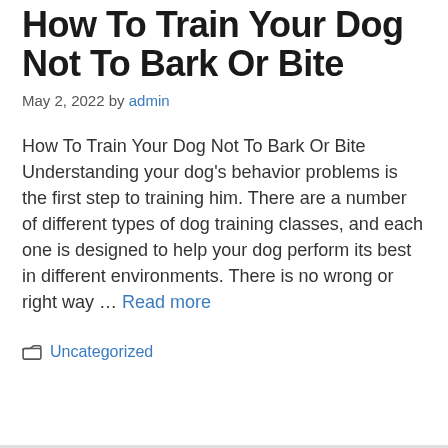How To Train Your Dog Not To Bark Or Bite
May 2, 2022 by admin
How To Train Your Dog Not To Bark Or Bite Understanding your dog's behavior problems is the first step to training him. There are a number of different types of dog training classes, and each one is designed to help your dog perform its best in different environments. There is no wrong or right way … Read more
Uncategorized